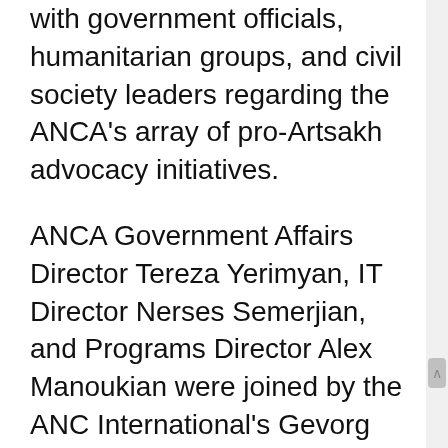with government officials, humanitarian groups, and civil society leaders regarding the ANCA's array of pro-Artsakh advocacy initiatives.
ANCA Government Affairs Director Tereza Yerimyan, IT Director Nerses Semerjian, and Programs Director Alex Manoukian were joined by the ANC International's Gevorg Ghukasyan in a week-long fact-finding mission to Artsakh. While there, they worked closely with the ANC of Artsakh, which was launched in September 2021, to focus on protecting the rights of Artsakh's citizens, securing international recognition of the Artsakh Republic, and restoring Artsakh's territorial integrity. The visit took place as the ANCA ramps up advocacy for pro-Artsakh priorities in the Fiscal Year 2023 Foreign Aid Bill and FY2023 National Defense Authorization Act.